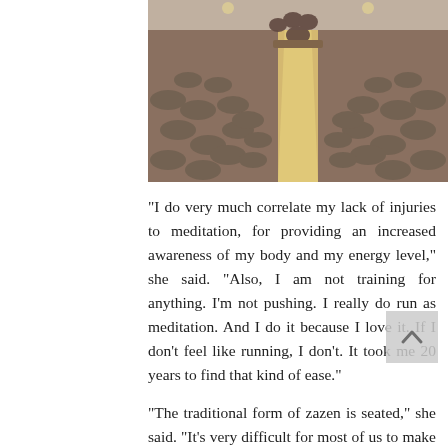[Figure (photo): Overhead view of a large meditation hall with many people seated in rows on both sides of a central wooden floor, facing inward toward an altar area at the far end.]
“I do very much correlate my lack of injuries to meditation, for providing an increased awareness of my body and my energy level,” she said. “Also, I am not training for anything. I’m not pushing. I really do run as meditation. And I do it because I love it. If I don’t feel like running, I don’t. It took me 20 years to find that kind of ease.”
“The traditional form of zazen is seated,” she said. “It’s very difficult for most of us to make the transition from the stillness of meditation into everyday life. You can be